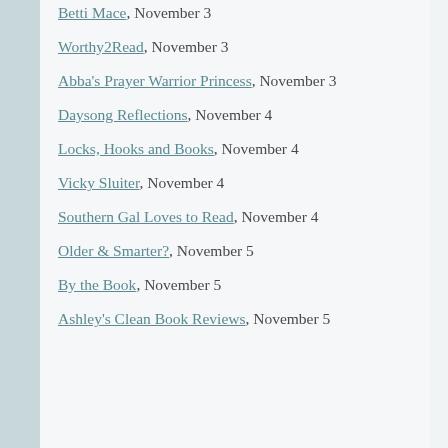Betti Mace, November 3
Worthy2Read, November 3
Abba's Prayer Warrior Princess, November 3
Daysong Reflections, November 4
Locks, Hooks and Books, November 4
Vicky Sluiter, November 4
Southern Gal Loves to Read, November 4
Older & Smarter?, November 5
By the Book, November 5
Ashley's Clean Book Reviews, November 5